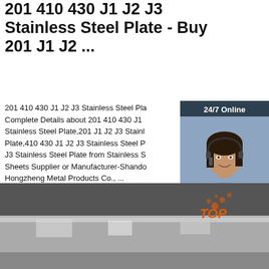201 410 430 J1 J2 J3 Stainless Steel Plate - Buy 201 J1 J2 ...
201 410 430 J1 J2 J3 Stainless Steel Plate, Complete Details about 201 410 430 J1 Stainless Steel Plate,201 J1 J2 J3 Stainless Steel Plate,410 430 J1 J2 J3 Stainless Steel Plate, J3 Stainless Steel Plate from Stainless Steel Sheets Supplier or Manufacturer-Shandong Hongzheng Metal Products Co., ...
[Figure (photo): Customer service representative with headset, 24/7 Online chat widget with dark blue background, orange QUOTATION button]
[Figure (photo): Green 'Get Price' button]
[Figure (photo): Stainless steel plates in a warehouse/showroom with TOP logo overlay]